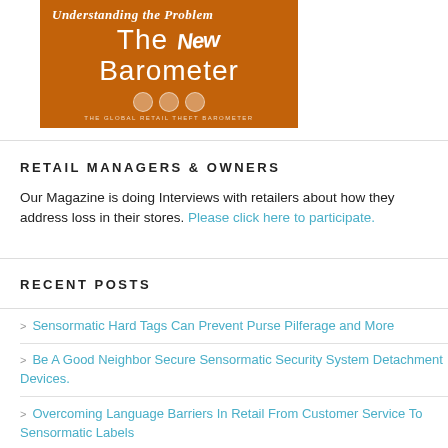[Figure (illustration): Book cover with orange background. Title text reads 'Understanding the Problem' in italic, then 'The New Barometer' in large white text. Three small circles at the bottom and subtitle 'THE GLOBAL RETAIL THEFT BAROMETER'.]
RETAIL MANAGERS & OWNERS
Our Magazine is doing Interviews with retailers about how they address loss in their stores. Please click here to participate.
RECENT POSTS
Sensormatic Hard Tags Can Prevent Purse Pilferage and More
Be A Good Neighbor Secure Sensormatic Security System Detachment Devices.
Overcoming Language Barriers In Retail From Customer Service To Sensormatic Labels